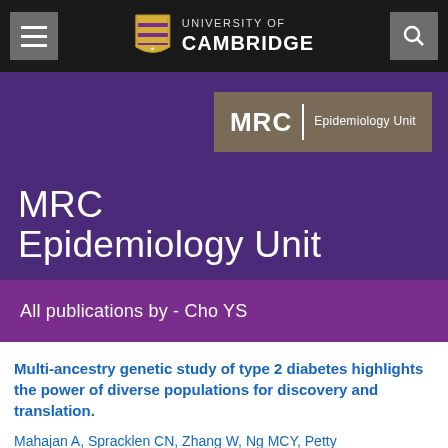[Figure (logo): University of Cambridge navigation bar with hamburger menu, Cambridge shield logo, and search icon on dark background]
MRC Epidemiology Unit
[Figure (logo): MRC Epidemiology Unit logo box with brown/taupe background, white text showing MRC with vertical divider and Epidemiology Unit text]
All publications by - Cho YS
Multi-ancestry genetic study of type 2 diabetes highlights the power of diverse populations for discovery and translation.
Mahajan A, Spracklen CN, Zhang W, Ng MCY, Petty